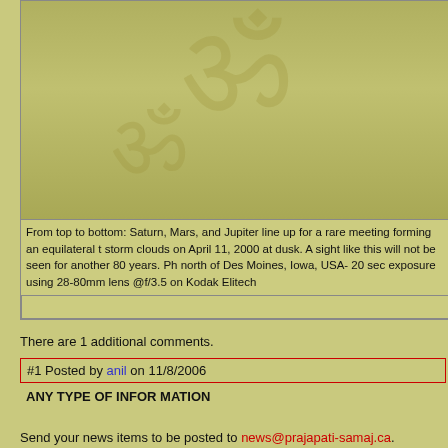[Figure (photo): Top portion of a page showing a framed photo area with a decorative Om symbol watermark background in olive/yellow-green tones]
From top to bottom: Saturn, Mars, and Jupiter line up for a rare meeting forming an equilateral t... storm clouds on April 11, 2000 at dusk. A sight like this will not be seen for another 80 years. Ph... north of Des Moines, Iowa, USA- 20 sec exposure using 28-80mm lens @f/3.5 on Kodak Elitech...
There are 1 additional comments.
#1 Posted by anil on 11/8/2006
ANY TYPE OF INFOR MATION
Send your news items to be posted to news@prajapati-samaj.ca.
If you have any questions or comments about this web site, send mail to Bhavin Mistry.
© 1997-2003 Prajaapati Vishva Aashram Foundation.
Site Design by Helios Logistics Inc.